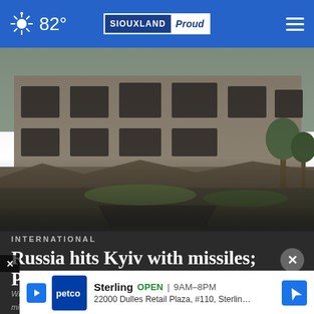82° SIOUXLAND Proud
[Figure (photo): Wreckage of a building destroyed by Russian missile strike in Kyiv, Ukraine, Sunday, June 5, 2022. Photo/Natacha]
INTERNATIONAL
Russia hits Kyiv with missiles; Putin warns West on arms
Wreckage of a building destroyed by Russian missile strike in Kyiv, Ukraine, Sunday, June 5, 2022. Photo/Natacha